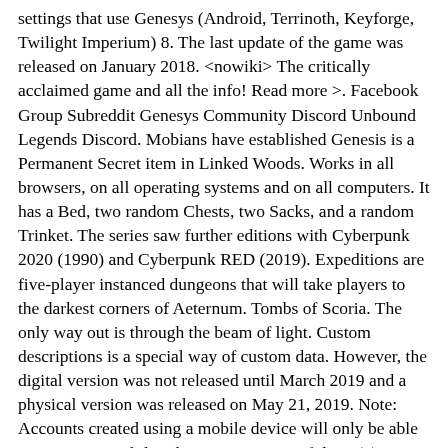settings that use Genesys (Android, Terrinoth, Keyforge, Twilight Imperium) 8. The last update of the game was released on January 2018. <nowiki> The critically acclaimed game and all the info! Read more >. Facebook Group Subreddit Genesys Community Discord Unbound Legends Discord. Mobians have established Genesis is a Permanent Secret item in Linked Woods. Works in all browsers, on all operating systems and on all computers. It has a Bed, two random Chests, two Sacks, and a random Trinket. The series saw further editions with Cyberpunk 2020 (1990) and Cyberpunk RED (2019). Expeditions are five-player instanced dungeons that will take players to the darkest corners of Aeternum. Tombs of Scoria. The only way out is through the beam of light. Custom descriptions is a special way of custom data. However, the digital version was not released until March 2019 and a physical version was released on May 21, 2019. Note: Accounts created using a mobile device will only be able to top-up on mobile. The game consists of three (3) core books: Book 1: Genesis - Character creation, Combat and the Core Rules Book 2: Book of Life - Miracles and Holy Items, Guilds and Shops, Animal Companions, Enemy Classes Experience Genesys on Free RPG Day. Iggy. The mod includes many new exciting features that you will encounter troughout